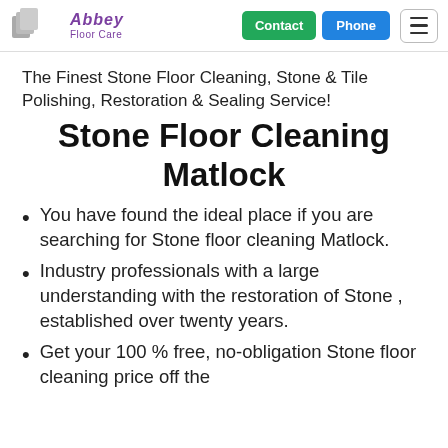Abbey Floor Care — Contact | Phone | Menu
The Finest Stone Floor Cleaning, Stone & Tile Polishing, Restoration & Sealing Service!
Stone Floor Cleaning Matlock
You have found the ideal place if you are searching for Stone floor cleaning Matlock.
Industry professionals with a large understanding with the restoration of Stone , established over twenty years.
Get your 100 % free, no-obligation Stone floor cleaning price off the